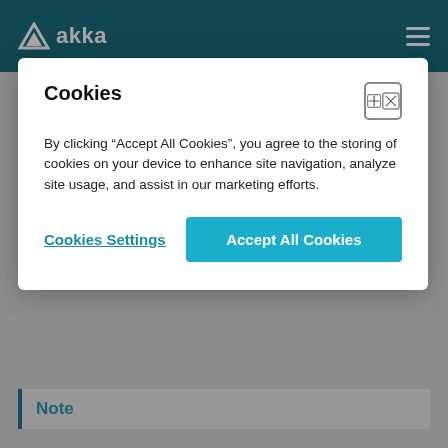akka
Cookies
By clicking “Accept All Cookies”, you agree to the storing of cookies on your device to enhance site navigation, analyze site usage, and assist in our marketing efforts.
Cookies Settings
Accept All Cookies
when no longer referenced, every Actor that is created must also explicitly be destroyed. The only simplification is that stopping a parent Actor will also recursively stop all the child Actors that this parent has created. All actors are also stopped automatically when the ActorSystem is shut down.
Note